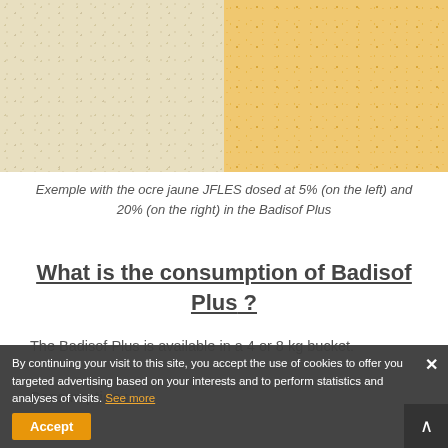[Figure (photo): Two side-by-side texture swatches showing ocre jaune JFLES pigment in Badisof Plus: light cream/beige on the left (5% dose) and golden yellow on the right (20% dose)]
Exemple with the ocre jaune JFLES dosed at 5% (on the left) and 20% (on the right) in the Badisof Plus
What is the consumption of Badisof Plus ?
The Badisof Plus is available in a 4 or 8 kg bucket.
Consumption :